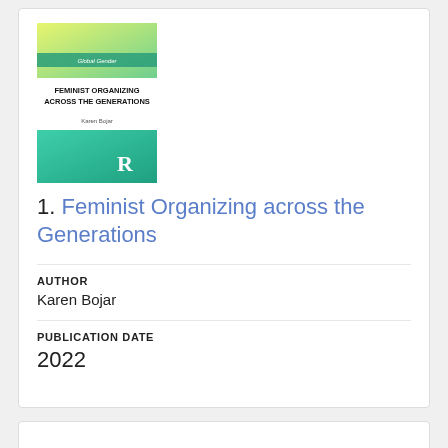[Figure (illustration): Book cover of 'Feminist Organizing Across the Generations' by Karen Bojar, published by Routledge. Cover features yellow-green gradient top half and teal/green bottom half with a white Routledge 'R' logo.]
1. Feminist Organizing across the Generations
AUTHOR
Karen Bojar
PUBLICATION DATE
2022